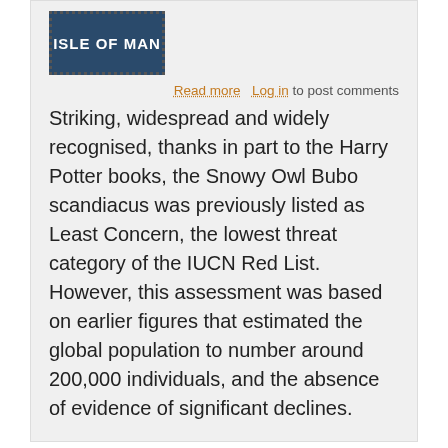[Figure (illustration): Isle of Man postage stamp with white text on dark blue background, dotted border]
Read more   Log in to post comments
Striking, widespread and widely recognised, thanks in part to the Harry Potter books, the Snowy Owl Bubo scandiacus was previously listed as Least Concern, the lowest threat category of the IUCN Red List. However, this assessment was based on earlier figures that estimated the global population to number around 200,000 individuals, and the absence of evidence of significant declines.
Page 1   Next ›
Birds
General (424)
Farmland birds (544)
Woodland birds (246)
Heathland birds (53)